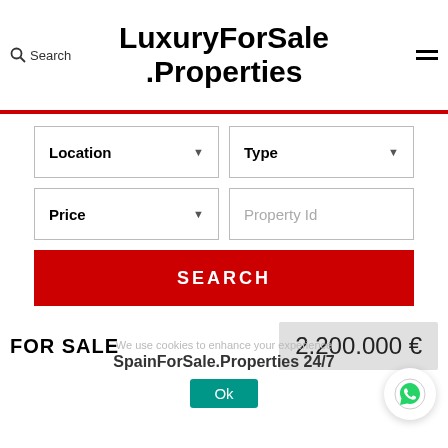LuxuryForSale.Properties
Search
Location ▾
Type ▾
Price ▾
Property Id
SEARCH
FOR SALE
2.200.000 €
We use cookies to enhance your experience
SpainForSale.Properties 24/7
Ok